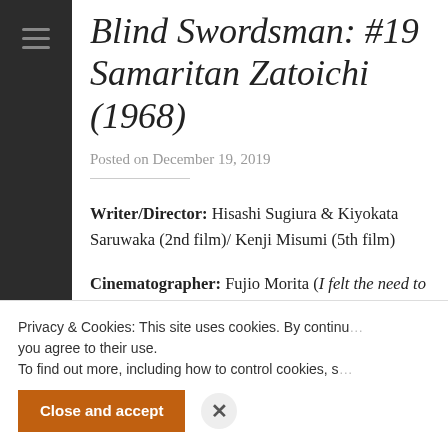Blind Swordsman: #19 Samaritan Zatoichi (1968)
Posted on December 19, 2019
Writer/Director: Hisashi Sugiura & Kiyokata Saruwaka (2nd film)/ Kenji Misumi (5th film)
Cinematographer: Fujio Morita (I felt the need to include the Cinematographer again here because this film is gorgeous, there are some inventive shots, and the use of
Privacy & Cookies: This site uses cookies. By continu you agree to their use. To find out more, including how to control cookies, s